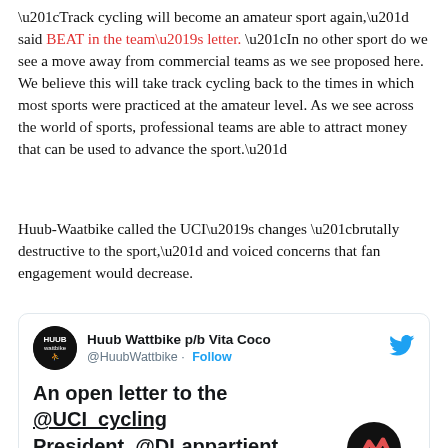“Track cycling will become an amateur sport again,” said BEAT in the team’s letter. “In no other sport do we see a move away from commercial teams as we see proposed here. We believe this will take track cycling back to the times in which most sports were practiced at the amateur level. As we see across the world of sports, professional teams are able to attract money that can be used to advance the sport.”
Huub-Waatbike called the UCI’s changes “brutally destructive to the sport,” and voiced concerns that fan engagement would decrease.
[Figure (screenshot): Embedded tweet from @HuubWattbike (Huub Wattbike p/b Vita Coco) with text: An open letter to the @UCI_cycling President, @DLappartient #LongLiveDerbados]